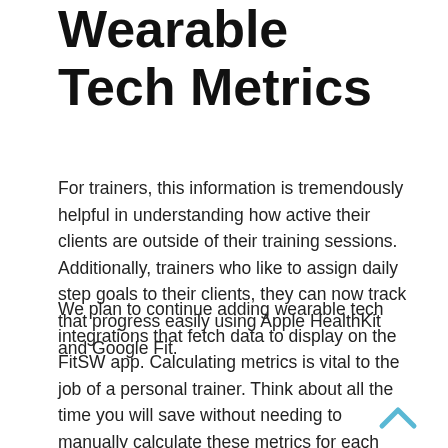Wearable Tech Metrics
For trainers, this information is tremendously helpful in understanding how active their clients are outside of their training sessions. Additionally, trainers who like to assign daily step goals to their clients, they can now track that progress easily using Apple HealthKit and Google Fit.
We plan to continue adding wearable tech integrations that fetch data to display on the FitSW app. Calculating metrics is vital to the job of a personal trainer. Think about all the time you will save without needing to manually calculate these metrics for each client.